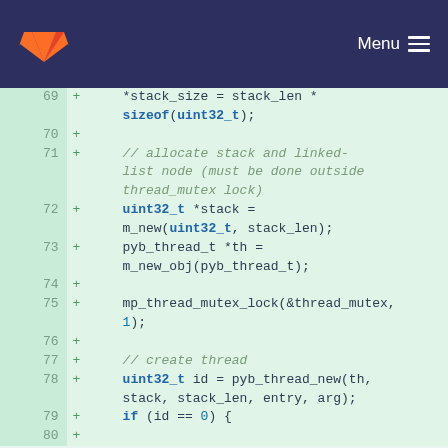GitLab Menu
69 + *stack_size = stack_len * sizeof(uint32_t);
70 +
71 + // allocate stack and linked-list node (must be done outside thread_mutex lock)
72 + uint32_t *stack = m_new(uint32_t, stack_len);
73 + pyb_thread_t *th = m_new_obj(pyb_thread_t);
74 +
75 + mp_thread_mutex_lock(&thread_mutex, 1);
76 +
77 + // create thread
78 + uint32_t id = pyb_thread_new(th, stack, stack_len, entry, arg);
79 + if (id == 0) {
80 +